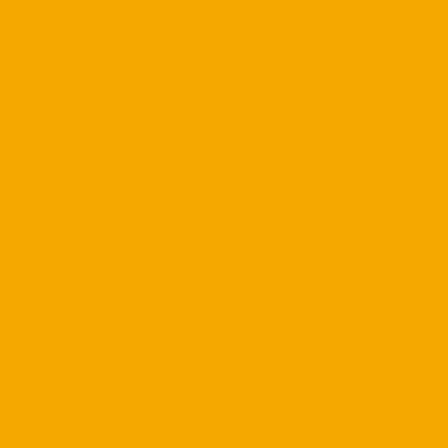resistance, and why, if they have resistance have a body of a w... many questions I had about t... http://www.igp-scifi.com/V-pi...
Posted by: IGPNicki | November 06...
Ne...
Post a comment
Sign in with Typepad Facebook